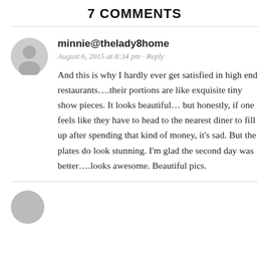7 COMMENTS
minnie@thelady8home
August 6, 2015 at 8:34 pm · Reply
And this is why I hardly ever get satisfied in high end restaurants….their portions are like exquisite tiny show pieces. It looks beautiful… but honestly, if one feels like they have to head to the nearest diner to fill up after spending that kind of money, it's sad. But the plates do look stunning. I'm glad the second day was better….looks awesome. Beautiful pics.